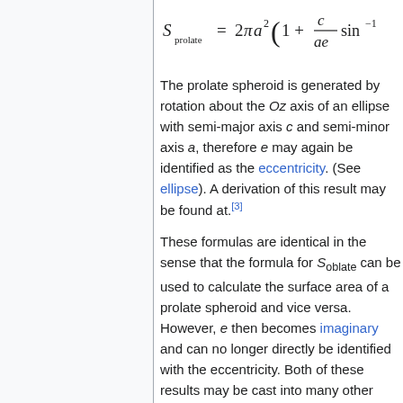The prolate spheroid is generated by rotation about the Oz axis of an ellipse with semi-major axis c and semi-minor axis a, therefore e may again be identified as the eccentricity. (See ellipse). A derivation of this result may be found at.[3]
These formulas are identical in the sense that the formula for S_oblate can be used to calculate the surface area of a prolate spheroid and vice versa. However, e then becomes imaginary and can no longer directly be identified with the eccentricity. Both of these results may be cast into many other forms using standard mathematical identities and relations between parameters of the ellipse.